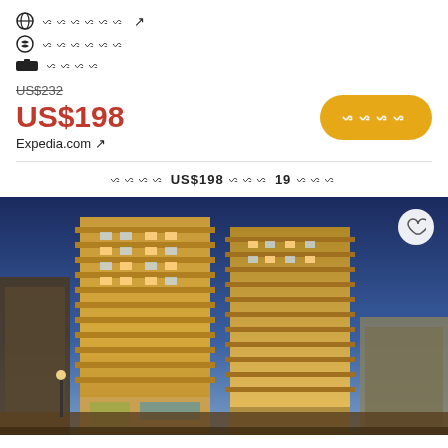ᯈ ᯁᯁᯁᯁᯁᯁ ↗
ᯈ ᯁᯁᯁᯁᯁᯁ
■ ᯁᯁᯁᯁ
US$232 (strikethrough)
US$198
Expedia.com ↗
ᯁᯁᯁᯁ US$198 ᯁᯁᯁ 19 ᯁᯁᯁ
[Figure (photo): Exterior photo of Aloft Miami Brickell hotel building at dusk/night, a tall modern high-rise with balconies, lit windows, against a blue sky]
3. Aloft Miami - Brickell
704 ᯁᯁᯁ